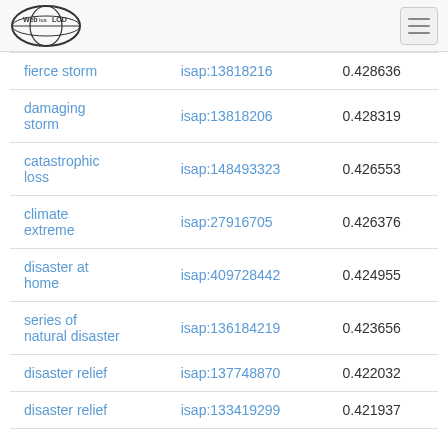Web isa LOD
| term | id | score |
| --- | --- | --- |
| fierce storm | isap:13818216 | 0.428636 |
| damaging storm | isap:13818206 | 0.428319 |
| catastrophic loss | isap:148493323 | 0.426553 |
| climate extreme | isap:27916705 | 0.426376 |
| disaster at home | isap:409728442 | 0.424955 |
| series of natural disaster | isap:136184219 | 0.423656 |
| disaster relief | isap:137748870 | 0.422032 |
| disaster relief | isap:133419299 | 0.421937 |